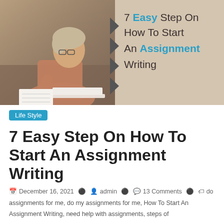[Figure (illustration): Banner image: woman writing/studying with laptop on left half; right half is beige/tan background with chevron arrows and title text '7 Easy Step On How To Start An Assignment Writing']
Life Style
7 Easy Step On How To Start An Assignment Writing
December 16, 2021   admin   13 Comments   do assignments for me, do my assignments for me, How To Start An Assignment Writing, need help with assignments, steps of